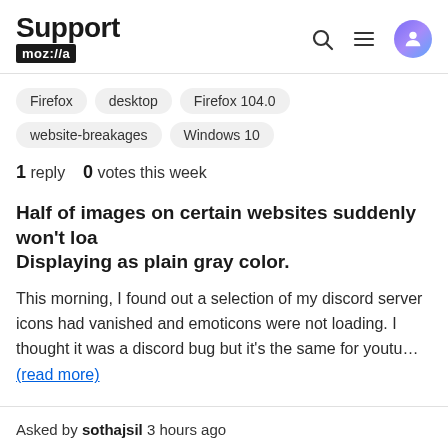Support mozilla // (with search, menu, and user icons)
Firefox
desktop
Firefox 104.0
website-breakages
Windows 10
1 reply   0 votes this week
Half of images on certain websites suddenly won't loa Displaying as plain gray color.
This morning, I found out a selection of my discord server icons had vanished and emoticons were not loading. I thought it was a discord bug but it's the same for youtu... (read more)
Asked by sothajsil 3 hours ago
Last reply by jscher2000 - Support Volunteer 2 hours ago